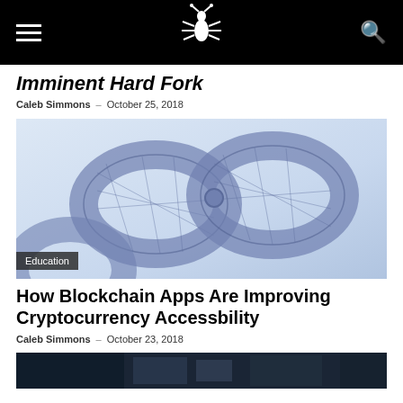Navigation bar with hamburger menu, logo, and search icon
Imminent Hard Fork
Caleb Simmons – October 25, 2018
[Figure (photo): Close-up of a chain made of blue wireframe/polygonal mesh links on a light background, with an 'Education' badge in the lower left corner]
How Blockchain Apps Are Improving Cryptocurrency Accessbility
Caleb Simmons – October 23, 2018
[Figure (photo): Partial view of a dark technology-themed image at the bottom of the page]